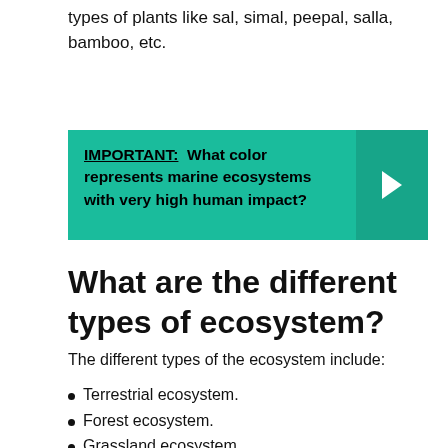types of plants like sal, simal, peepal, salla, bamboo, etc.
IMPORTANT: What color represents marine ecosystems with very high human impact?
What are the different types of ecosystem?
The different types of the ecosystem include:
Terrestrial ecosystem.
Forest ecosystem.
Grassland ecosystem.
Desert ecosystem.
Tundra ecosystem.